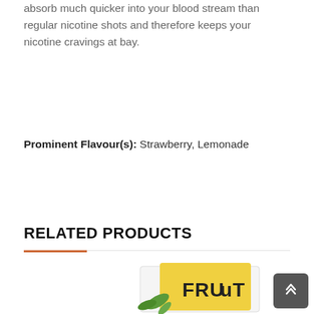absorb much quicker into your blood stream than regular nicotine shots and therefore keeps your nicotine cravings at bay.
Prominent Flavour(s): Strawberry, Lemonade
RELATED PRODUCTS
[Figure (photo): Partial product image showing a FRUUT branded nicotine shot box with yellow packaging at the bottom of the page]